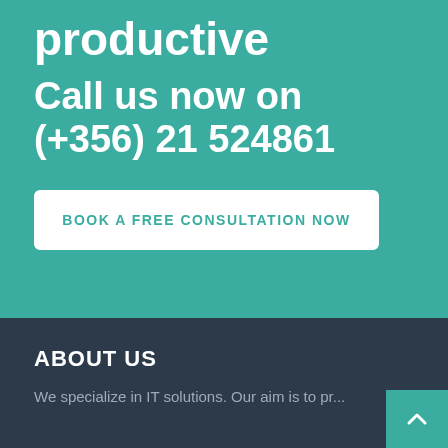productive
Call us now on (+356) 21 524861
BOOK A FREE CONSULTATION NOW
ABOUT US
We specialize in IT solutions. Our aim is to pr...